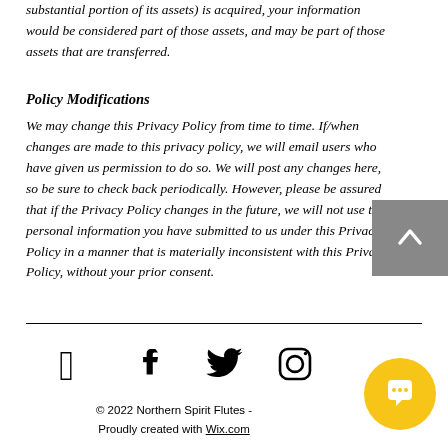substantial portion of its assets) is acquired, your information would be considered part of those assets, and may be part of those assets that are transferred.
Policy Modifications
We may change this Privacy Policy from time to time. If/when changes are made to this privacy policy, we will email users who have given us permission to do so. We will post any changes here, so be sure to check back periodically. However, please be assured that if the Privacy Policy changes in the future, we will not use the personal information you have submitted to us under this Privacy Policy in a manner that is materially inconsistent with this Privacy Policy, without your prior consent.
[Figure (other): Social media icons: Facebook, Twitter, Instagram]
© 2022 Northern Spirit Flutes - Proudly created with Wix.com